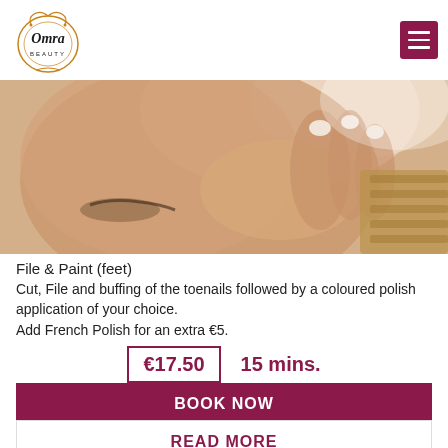Omra Beauty
[Figure (photo): Close-up photo of a woman's face resting near her hand with manicured nails and a tan towel]
File & Paint (feet)
Cut, File and buffing of the toenails followed by a coloured polish application of your choice.
Add French Polish for an extra €5.
€17.50   15 mins.
BOOK NOW
READ MORE